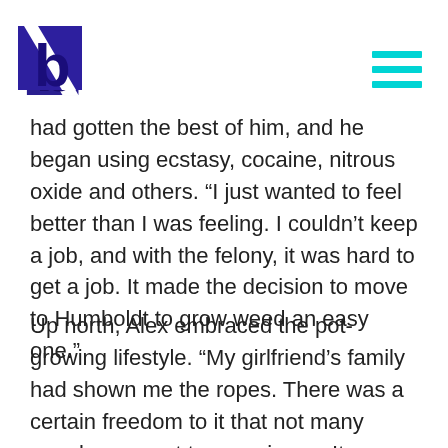[Brand logo with letter b] [Hamburger menu icon]
had gotten the best of him, and he began using ecstasy, cocaine, nitrous oxide and others. “I just wanted to feel better than I was feeling. I couldn’t keep a job, and with the felony, it was hard to get a job. It made the decision to move to Humboldt to grow weed an easy one.”
Up north, Alex embraced the pot-growing lifestyle. “My girlfriend’s family had shown me the ropes. There was a certain freedom to it that not many people ever get to experience. It was like living with a bunch of pirates in the